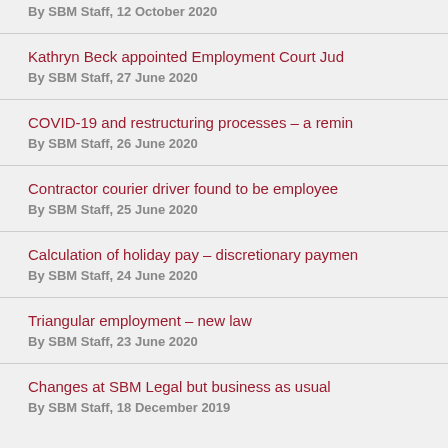By SBM Staff, 12 October 2020
Kathryn Beck appointed Employment Court Jud...
By SBM Staff, 27 June 2020
COVID-19 and restructuring processes – a remin...
By SBM Staff, 26 June 2020
Contractor courier driver found to be employee
By SBM Staff, 25 June 2020
Calculation of holiday pay – discretionary paymen...
By SBM Staff, 24 June 2020
Triangular employment – new law
By SBM Staff, 23 June 2020
Changes at SBM Legal but business as usual
By SBM Staff, 18 December 2019